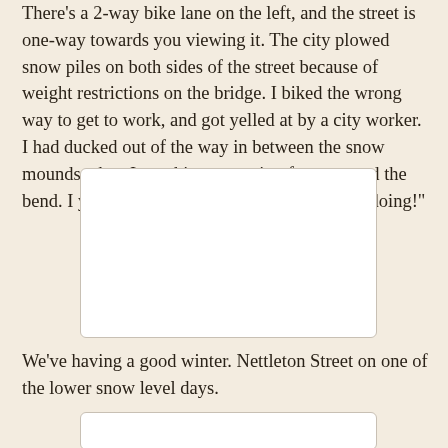There's a 2-way bike lane on the left, and the street is one-way towards you viewing it. The city plowed snow piles on both sides of the street because of weight restrictions on the bridge.  I biked the wrong way to get to work, and got yelled at by a city worker.  I had ducked out of the way in between the snow mounds when I saw his car coming from around the bend.  I yelled back. "fookoff, I know what I'm doing!"
[Figure (photo): A blank/white image placeholder representing a street photo]
We've having a good winter.  Nettleton Street on one of the lower snow level days.
[Figure (photo): A blank/white image placeholder representing Nettleton Street on a lower snow level day]